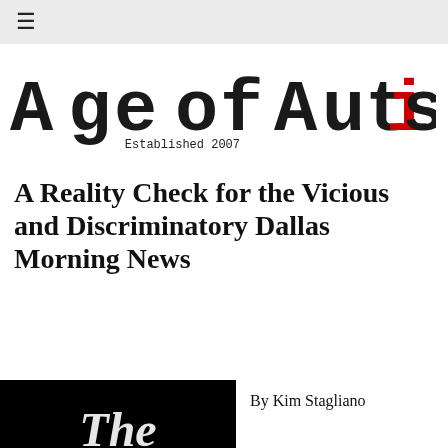≡
[Figure (logo): Age of Autism logo — distressed typewriter-style font reading 'Age of Autism' with the letter 'i' in red, and 'Established 2007' below right in a monospace font]
A Reality Check for the Vicious and Discriminatory Dallas Morning News
[Figure (photo): Black image with partial white Gothic/Old English text visible at bottom, appearing to show 'The' in decorative script — likely a Dallas Morning News masthead]
By Kim Stagliano